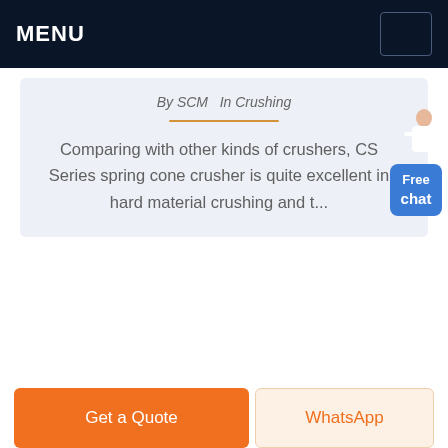MENU
By SCM  In Crushing
Comparing with other kinds of crushers, CS Series spring cone crusher is quite excellent in hard material crushing and t...
[Figure (illustration): Free chat widget with person illustration and blue button labeled Free chat]
Get a Quote
WhatsApp